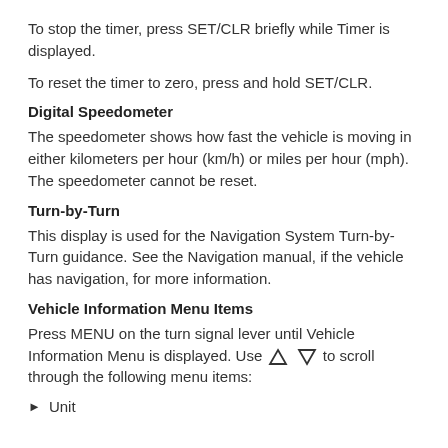To stop the timer, press SET/CLR briefly while Timer is displayed.
To reset the timer to zero, press and hold SET/CLR.
Digital Speedometer
The speedometer shows how fast the vehicle is moving in either kilometers per hour (km/h) or miles per hour (mph). The speedometer cannot be reset.
Turn-by-Turn
This display is used for the Navigation System Turn-by-Turn guidance. See the Navigation manual, if the vehicle has navigation, for more information.
Vehicle Information Menu Items
Press MENU on the turn signal lever until Vehicle Information Menu is displayed. Use △ ▽ to scroll through the following menu items:
► Unit